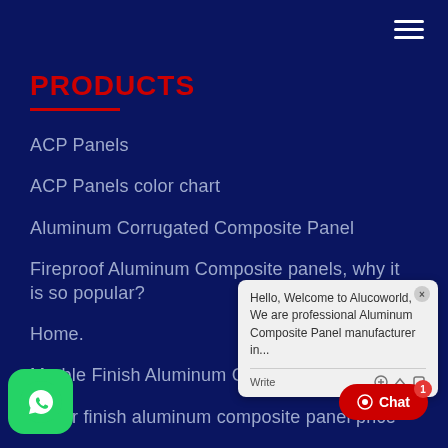Navigation bar with hamburger menu
PRODUCTS
ACP Panels
ACP Panels color chart
Aluminum Corrugated Composite Panel
Fireproof Aluminum Composite panels, why it is so popular?
Home.
Marble Finish Aluminum Composite Panel
Mirror finish aluminum composite panel price
aluminum composite panel
[Figure (screenshot): Chat popup with text: Hello, Welcome to Alucoworld, We are professional Aluminum Composite Panel manufacturer in... with Write input area and icons]
[Figure (logo): WhatsApp green button icon bottom left]
Chat 1